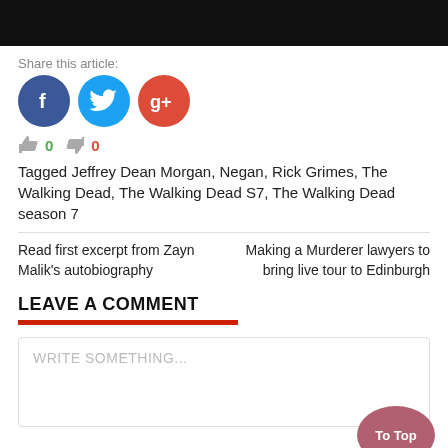[Figure (photo): Black bar at top of page, cropped image remnant]
Share this article:
[Figure (infographic): Social media share buttons: Facebook (blue circle), Twitter (light blue circle), Google+ (red circle)]
👍 0 👎 0
Tagged Jeffrey Dean Morgan, Negan, Rick Grimes, The Walking Dead, The Walking Dead S7, The Walking Dead season 7
Read first excerpt from Zayn Malik's autobiography
Making a Murderer lawyers to bring live tour to Edinburgh
LEAVE A COMMENT
WRITE SOMETHING...